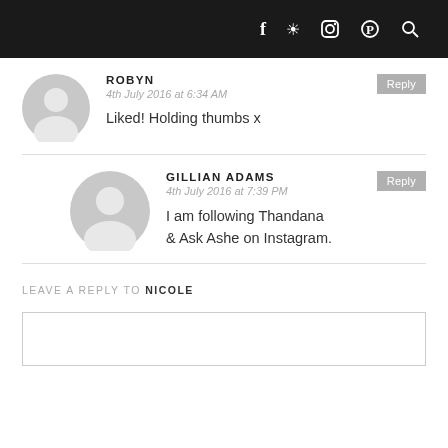f  [instagram]  [pinterest]  [search]
ROBYN
4th July 2016 at 6:34 AM
Liked! Holding thumbs x
[Reply]
GILLIAN ADAMS
4th July 2016 at 7:39 PM
I am following Thandana & Ask Ashe on Instagram.
[Reply]
LEAVE A REPLY TO NICOLE